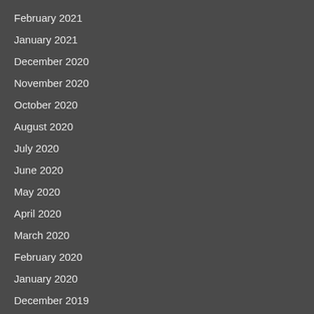February 2021
January 2021
December 2020
November 2020
October 2020
August 2020
July 2020
June 2020
May 2020
April 2020
March 2020
February 2020
January 2020
December 2019
November 2019